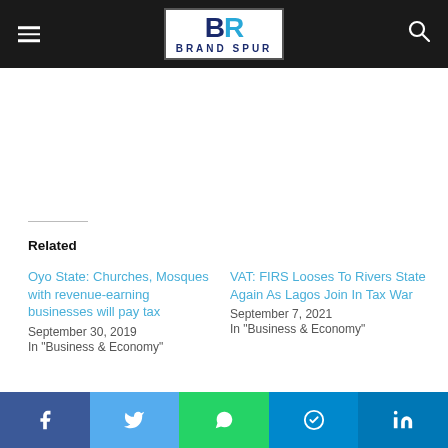Brand Spur
Related
Oyo State: Churches, Mosques with revenue-earning businesses will pay tax
September 30, 2019
In "Business & Economy"
VAT: FIRS Looses To Rivers State Again As Lagos Join In Tax War
September 7, 2021
In "Business & Economy"
Ondo Reaches N1.7 Billion Monthly IGR
July 11, 2019
Facebook  Twitter  WhatsApp  Telegram  LinkedIn